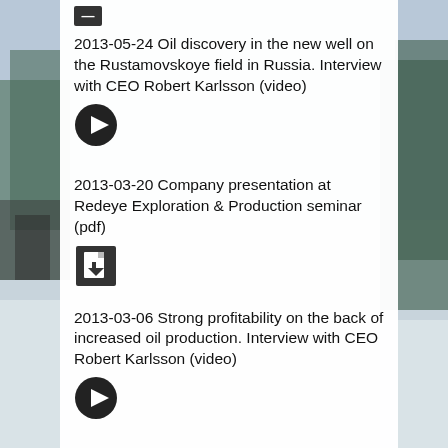2013-05-24 Oil discovery in the new well on the Rustamovskoye field in Russia. Interview with CEO Robert Karlsson (video)
[Figure (other): Play button icon (video link)]
2013-03-20 Company presentation at Redeye Exploration & Production seminar (pdf)
[Figure (other): Download file icon (pdf link)]
2013-03-06 Strong profitability on the back of increased oil production. Interview with CEO Robert Karlsson (video)
[Figure (other): Play button icon (video link)]
2012
2012-11-22 Presentation at Remium (pdf)